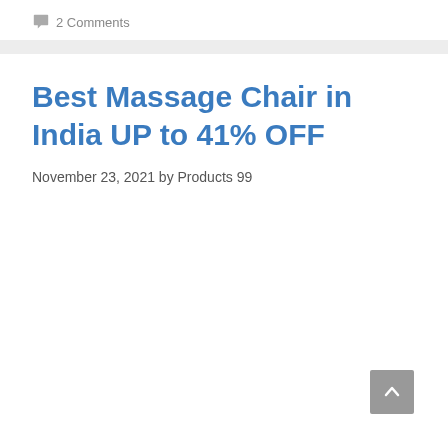2 Comments
Best Massage Chair in India UP to 41% OFF
November 23, 2021 by Products 99